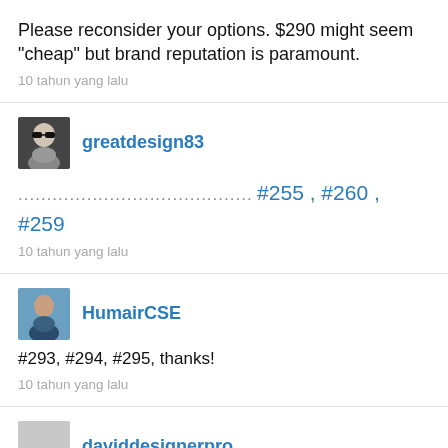Please reconsider your options. $290 might seem "cheap" but brand reputation is paramount.
10 tahun yang lalu
greatdesign83
....................................... #255 , #260 , #259
10 tahun yang lalu
HumairCSE
#293, #294, #295, thanks!
10 tahun yang lalu
daviddesignerpro